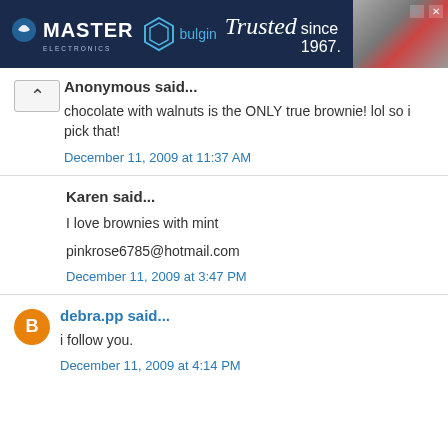[Figure (screenshot): Advertisement banner: Master Electronics and Bulgin — Trusted since 1967, with a photo on the right showing shelves/person]
Anonymous said...
chocolate with walnuts is the ONLY true brownie! lol so i pick that!
December 11, 2009 at 11:37 AM
Karen said...
I love brownies with mint
pinkrose6785@hotmail.com
December 11, 2009 at 3:47 PM
debra.pp said...
i follow you.
December 11, 2009 at 4:14 PM